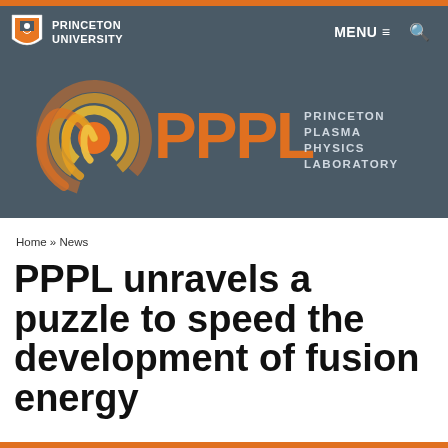PRINCETON UNIVERSITY  MENU  🔍
[Figure (logo): PPPL Princeton Plasma Physics Laboratory logo with orange swirl and text on dark grey background]
Home » News
PPPL unravels a puzzle to speed the development of fusion energy